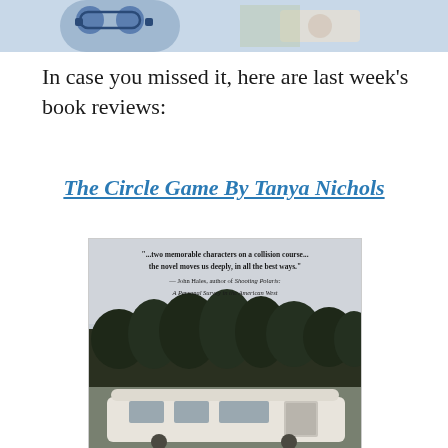[Figure (photo): Partial top photo showing what appears to be glasses and an object, cropped at the top of the page]
In case you missed it, here are last week's book reviews:
The Circle Game By Tanya Nichols
[Figure (photo): Book cover of 'The Circle Game By Tanya Nichols' showing a vintage Airstream trailer parked in front of trees under an overcast sky, with a quote: '...two memorable characters on a collision course... the novel moves us deeply, in all the best ways.' — John Hales, author of Shooting Polaris: A Personal Survey in the American West]